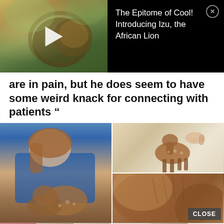[Figure (screenshot): Video ad banner: lion video thumbnail with play button on left; text 'The Epitome of Cool! Introducing Izu, the African Lion' on right black background with close X button]
are in pain, but he does seem to have some weird knack for connecting with patients ”
[Figure (photo): Photo grid: left large photo of woman in blue scrubs holding a baby deer fawn; top right photo of baby deer/fawn being held by person; bottom right close-up of animal fur, with CLOSE button overlay]
[Figure (screenshot): Advertisement bar at bottom: cosmetics ad with lips, brush, eyes, Ulta Beauty logo, smoky eye, and SHOP NOW button]